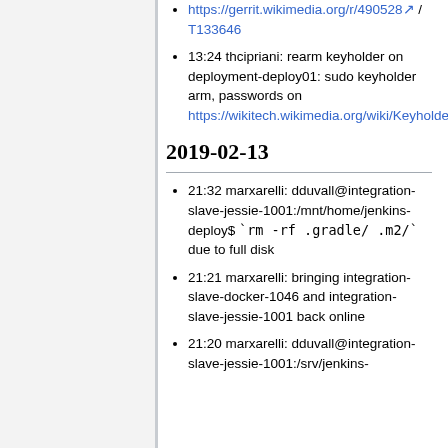https://gerrit.wikimedia.org/r/490528 / T133646
13:24 thcipriani: rearm keyholder on deployment-deploy01: sudo keyholder arm, passwords on https://wikitech.wikimedia.org/wiki/Keyholder
2019-02-13
21:32 marxarelli: dduvall@integration-slave-jessie-1001:/mnt/home/jenkins-deploy$ `rm -rf .gradle/ .m2/` due to full disk
21:21 marxarelli: bringing integration-slave-docker-1046 and integration-slave-jessie-1001 back online
21:20 marxarelli: dduvall@integration-slave-jessie-1001:/srv/jenkins-